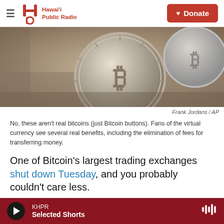Hawai'i Public Radio | Donate
[Figure (photo): Close-up photo of a physical Bitcoin coin (a metal coin with the Bitcoin 'B' symbol) on a surface, with another coin partially visible in the background.]
Frank Jordans / AP
No, these aren't real bitcoins (just Bitcoin buttons). Fans of the virtual currency see several real benefits, including the elimination of fees for transferring money.
One of Bitcoin's largest trading exchanges shut down Tuesday, and you probably couldn't care less.
So what if rumors are circulating that millions of
KHPR | Selected Shorts